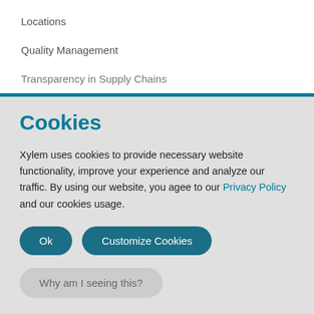Locations
Quality Management
Transparency in Supply Chains
Cookies
Xylem uses cookies to provide necessary website functionality, improve your experience and analyze our traffic. By using our website, you agee to our Privacy Policy and our cookies usage.
Ok
Customize Cookies
Why am I seeing this?
English